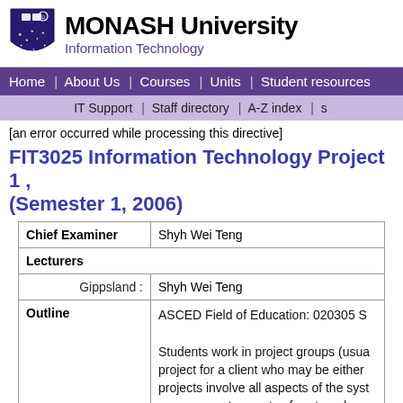[Figure (logo): Monash University logo with shield and text 'MONASH University Information Technology']
Home | About Us | Courses | Units | Student resources
IT Support | Staff directory | A-Z index | s
[an error occurred while processing this directive]
FIT3025 Information Technology Project 1 , (Semester 1, 2006)
|  |  |
| --- | --- |
| Chief Examiner | Shyh Wei Teng |
| Lecturers |  |
| Gippsland : | Shyh Wei Teng |
| Outline | ASCED Field of Education: 020305 S

Students work in project groups (usua project for a client who may be either projects involve all aspects of the syst management aspects of system deve the subject are fulfilled by the team m |